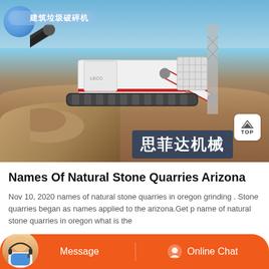[Figure (photo): Mobile stone crusher / construction waste crusher machine on a worksite with crushed stone and rubble. Chinese text overlay '建筑垃圾破碎机' (construction waste crusher) top-left in a blue rounded label. Chinese brand '思菲达机械' bottom-right on dark blue background. A 'TOP' button visible bottom-right corner.]
Names Of Natural Stone Quarries Arizona
Nov 10, 2020 names of natural stone quarries in oregon grinding . Stone quarries began as names applied to the arizona.Get p name of natural stone quarries in oregon what is the
[Figure (other): Bottom orange bar with chat avatar (customer service person), 'Message' button on left and 'Online Chat' button with headset icon on right.]